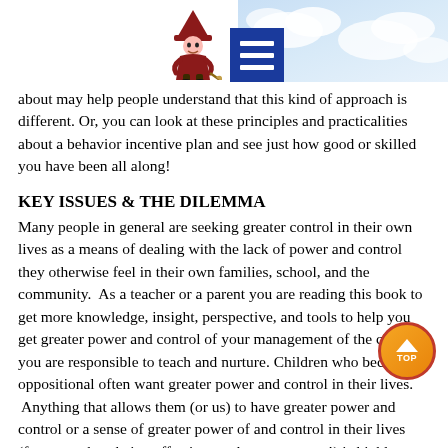[Figure (illustration): Cartoon character illustration of a witch or gnome figure, and a blue menu/hamburger icon button, with sky background]
about may help people understand that this kind of approach is different.  Or, you can look at these principles and practicalities about a behavior incentive plan and see just how good or skilled you have been all along!
KEY ISSUES & THE DILEMMA
Many people in general are seeking greater control in their own lives as a means of dealing with the lack of power and control they otherwise feel in their own families, school, and the community.  As a teacher or a parent you are reading this book to get more knowledge, insight, perspective, and tools to help you get greater power and control of your management of the children you are responsible to teach and nurture.  Children who become oppositional often want greater power and control in their lives.  Anything that allows them (or us) to have greater power and control or a sense of greater power of and control in their lives (for us, such as being effective teachers or parents!) is highly motivating.  The issue for adults is to instill the discipline that they